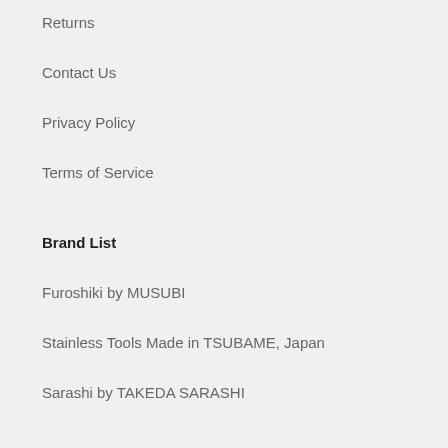Returns
Contact Us
Privacy Policy
Terms of Service
Brand List
Furoshiki by MUSUBI
Stainless Tools Made in TSUBAME, Japan
Sarashi by TAKEDA SARASHI